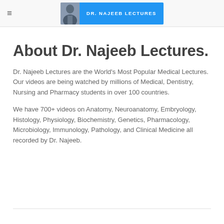DR. NAJEEB LECTURES
About Dr. Najeeb Lectures.
Dr. Najeeb Lectures are the World's Most Popular Medical Lectures. Our videos are being watched by millions of Medical, Dentistry, Nursing and Pharmacy students in over 100 countries.
We have 700+ videos on Anatomy, Neuroanatomy, Embryology, Histology, Physiology, Biochemistry, Genetics, Pharmacology, Microbiology, Immunology, Pathology, and Clinical Medicine all recorded by Dr. Najeeb.